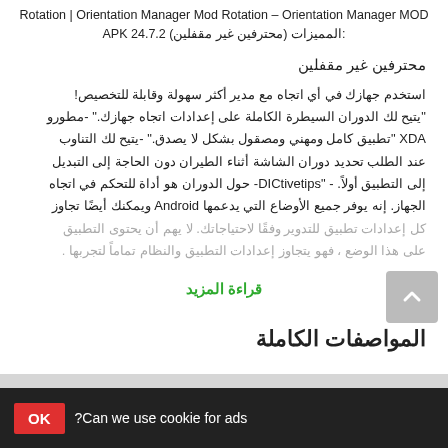Rotation | Orientation Manager Mod Rotation – Orientation Manager MOD APK 24.7.2 (محترفين غير مقفلين) المميزات:
محترفين غير مقفلين
استخدم جهازك في أي اتجاه مع مدير أكثر سهولة وقابلة للتخصيص! "يتيح لك الدوران السيطرة الكاملة على إعدادات اتجاه جهازك." -مطورو XDA "تطبيق كامل ومهني ومصقول بشكل لا يصدق." -يتيح لك التناوب عند الطلب تحديد دوران الشاشة أثناء الطيران دون الحاجة إلى التبديل إلى التطبيق أولاً. - "DICtivetips- حول الدوران هو أداة للتحكم في اتجاه الجهاز. إنه يوفر جميع الأوضاع التي يدعمها Android ويمكنك أيضًا تجاوز كل إعدادات تطبيق للتدوير وفقًا لاحتياجاتك. لا يهم أن يحتوى التطبيق على هذا الوضع ، فهو يتجاوز إعدادات التطبيق والنظام تماماً لتجربها .
قراءة المزيد
المواصفات الكاملة
Can we use cookie for ads?